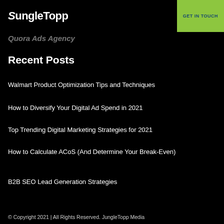JungleTopp | GET IN TOUCH
Quora Ads Agency
Recent Posts
Walmart Product Optimization Tips and Techniques
How to Diversify Your Digital Ad Spend in 2021
Top Trending Digital Marketing Strategies for 2021
How to Calculate ACoS (And Determine Your Break-Even)
B2B SEO Lead Generation Strategies
© Copyright 2021 | All Rights Reserved. JungleTopp Media